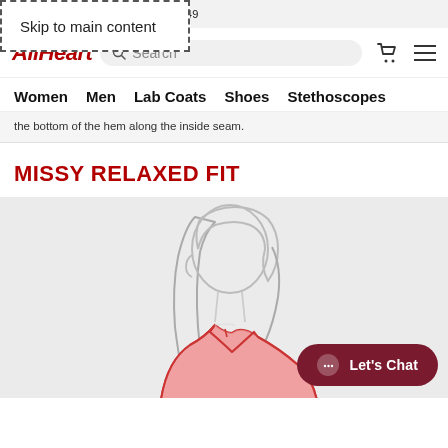S. ORDERS $49 USE CODE: 55249
Skip to main content
[Figure (logo): AllHeart logo in red italic bold text]
Search
Women  Men  Lab Coats  Shoes  Stethoscopes
the bottom of the hem along the inside seam.
MISSY RELAXED FIT
[Figure (illustration): Line drawing illustration of a woman's upper body wearing a red V-neck top with long hair]
Let's Chat